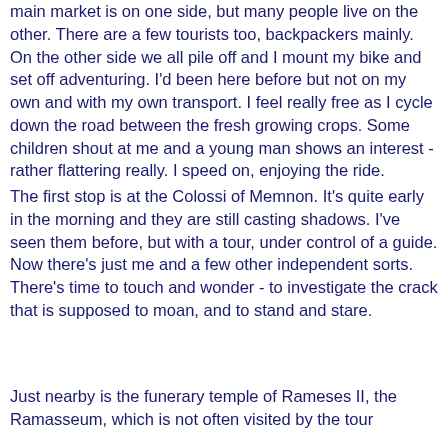main market is on one side, but many people live on the other. There are a few tourists too, backpackers mainly. On the other side we all pile off and I mount my bike and set off adventuring. I'd been here before but not on my own and with my own transport. I feel really free as I cycle down the road between the fresh growing crops. Some children shout at me and a young man shows an interest - rather flattering really. I speed on, enjoying the ride.
The first stop is at the Colossi of Memnon. It's quite early in the morning and they are still casting shadows. I've seen them before, but with a tour, under control of a guide. Now there's just me and a few other independent sorts. There's time to touch and wonder - to investigate the crack that is supposed to moan, and to stand and stare.
Just nearby is the funerary temple of Rameses II, the Ramasseum, which is not often visited by the tour